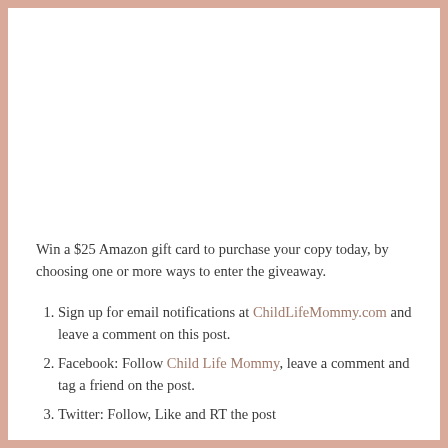Win a $25 Amazon gift card to purchase your copy today, by choosing one or more ways to enter the giveaway.
Sign up for email notifications at ChildLifeMommy.com and leave a comment on this post.
Facebook: Follow Child Life Mommy, leave a comment and tag a friend on the post.
Twitter: Follow, Like and RT the post